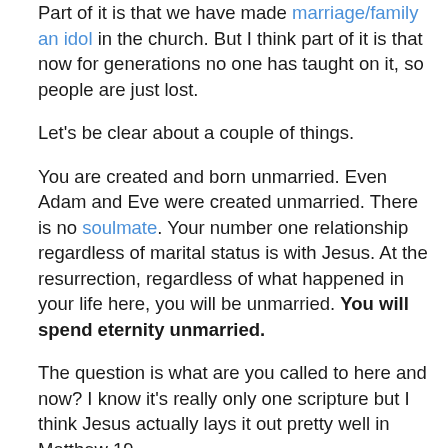Part of it is that we have made marriage/family an idol in the church.  But I think part of it is that now for generations no one has taught on it, so people are just lost.
Let's be clear about a couple of things.
You are created and born unmarried.  Even Adam and Eve were created unmarried. There is no soulmate.  Your number one relationship regardless of marital status is with Jesus.  At the resurrection, regardless of what happened in your life here, you will be unmarried.  You will spend eternity unmarried.
The question is what are you called to here and now?  I know it's really only one scripture but I think Jesus actually lays it out pretty well in Matthew 19.
The pharisees have tried to trap Jesus with a question about divorce. Jesus answers that he pictures the best...